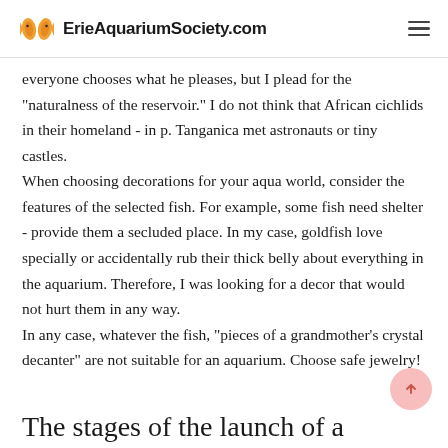ErieAquariumSociety.com
everyone chooses what he pleases, but I plead for the "naturalness of the reservoir." I do not think that African cichlids in their homeland - in p. Tanganica met astronauts or tiny castles.
When choosing decorations for your aqua world, consider the features of the selected fish. For example, some fish need shelter - provide them a secluded place. In my case, goldfish love specially or accidentally rub their thick belly about everything in the aquarium. Therefore, I was looking for a decor that would not hurt them in any way.
In any case, whatever the fish, "pieces of a grandmother's crystal decanter" are not suitable for an aquarium. Choose safe jewelry!
The stages of the launch of a